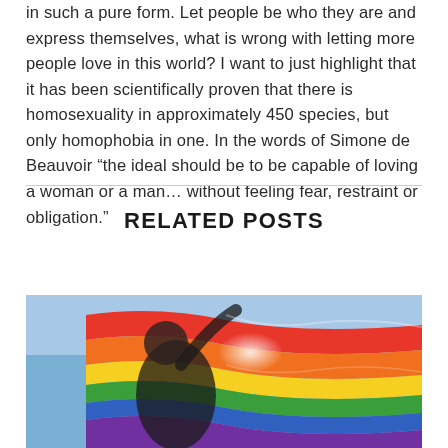in such a pure form. Let people be who they are and express themselves, what is wrong with letting more people love in this world? I want to just highlight that it has been scientifically proven that there is homosexuality in approximately 450 species, but only homophobia in one. In the words of Simone de Beauvoir “the ideal should be to be capable of loving a woman or a man… without feeling fear, restraint or obligation.”
RELATED POSTS
[Figure (photo): A person holding or wrapped in a rainbow Pride flag against a blue sky background, with sunlight shining through the colorful fabric.]